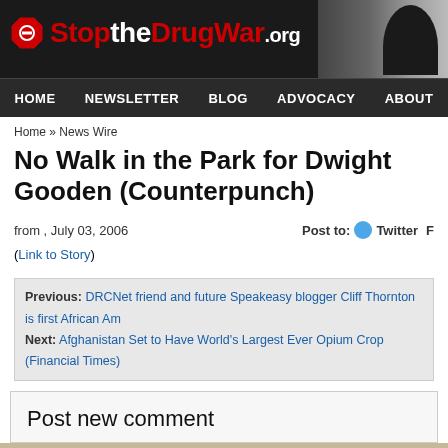StoptheDrugWar.org
HOME  NEWSLETTER  BLOG  ADVOCACY  ABOUT
Home » News Wire
No Walk in the Park for Dwight Gooden (Counterpunch)
from , July 03, 2006   Post to: Twitter F
(Link to Story)
Previous: DRCNet friend and future Speakeasy blogger Cliff Thornton is first African Am...
Next: Afghanistan Set to Have World's Largest Ever Opium Crop (Financial Times)
Post new comment